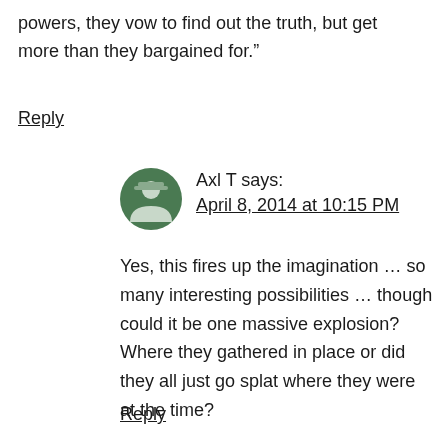powers, they vow to find out the truth, but get more than they bargained for.”
Reply
Axl T says:
April 8, 2014 at 10:15 PM
Yes, this fires up the imagination … so many interesting possibilities … though could it be one massive explosion? Where they gathered in place or did they all just go splat where they were at the time?
Reply